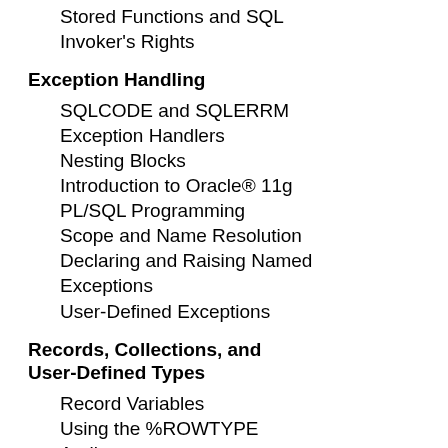Stored Functions and SQL Invoker's Rights
Exception Handling
SQLCODE and SQLERRM
Exception Handlers
Nesting Blocks
Introduction to Oracle® 11g PL/SQL Programming
Scope and Name Resolution
Declaring and Raising Named Exceptions
User-Defined Exceptions
Records, Collections, and User-Defined Types
Record Variables
Using the %ROWTYPE Attribute
User-Defined Object Types
VARRAY and Nested TABLE Collections
Using Nested TABLEs